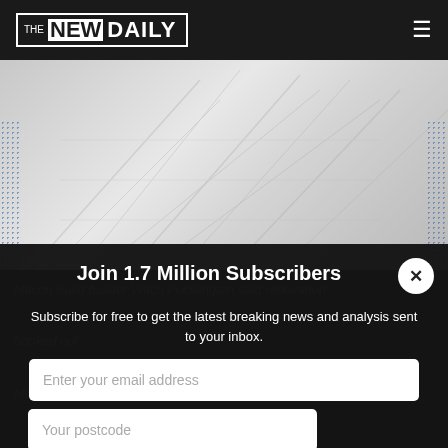THE NEW DAILY
[Figure (photo): Hero image showing faint architectural or construction imagery on a light grey background, with blue dot patterns on left and right edges]
Mitcon Build builder Witch Pocklington said renovation
booked out
Mr Pocklington sa... to increase their
Join 1.7 Million Subscribers
Subscribe for free to get the latest breaking news and analysis sent to your inbox.